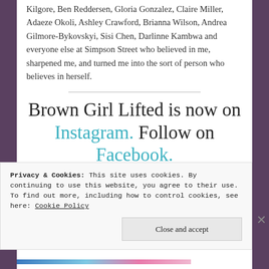Kilgore, Ben Reddersen, Gloria Gonzalez, Claire Miller, Adaeze Okoli, Ashley Crawford, Brianna Wilson, Andrea Gilmore-Bykovskyi, Sisi Chen, Darlinne Kambwa and everyone else at Simpson Street who believed in me, sharpened me, and turned me into the sort of person who believes in herself.
Brown Girl Lifted is now on Instagram. Follow on Facebook.
Privacy & Cookies: This site uses cookies. By continuing to use this website, you agree to their use. To find out more, including how to control cookies, see here: Cookie Policy
Close and accept